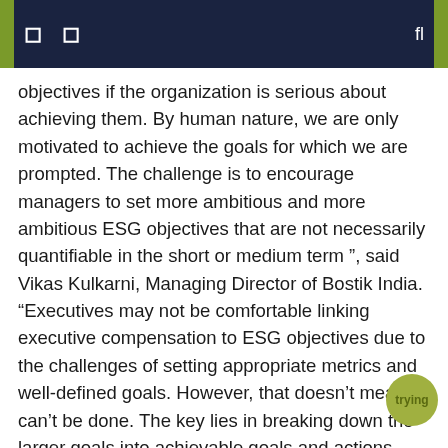objectives if the organization is serious about achieving them. By human nature, we are only motivated to achieve the goals for which we are prompted. The challenge is to encourage managers to set more ambitious and more ambitious ESG objectives that are not necessarily quantifiable in the short or medium term ”, said Vikas Kulkarni, Managing Director of Bostik India.
“Executives may not be comfortable linking executive compensation to ESG objectives due to the challenges of setting appropriate metrics and well-defined goals. However, that doesn’t mean it can’t be done. The key lies in breaking down the larger goals into achievable goals and actions. that can be mapped within a given time frame that is acceptable to all. The light at the end of the tunnel shouldn’t seem so far away that you even get discouraged from trying to walk through it. If ESG goals are set too broadly and